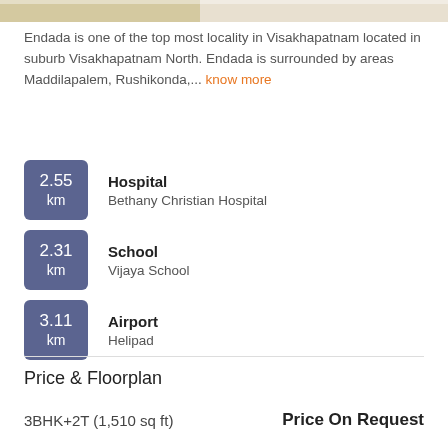[Figure (photo): Partial top image strip visible at the top of the page]
Endada is one of the top most locality in Visakhapatnam located in suburb Visakhapatnam North. Endada is surrounded by areas Maddilapalem, Rushikonda,... know more
2.55 km | Hospital | Bethany Christian Hospital
2.31 km | School | Vijaya School
3.11 km | Airport | Helipad
Price & Floorplan
3BHK+2T (1,510 sq ft)   Price On Request